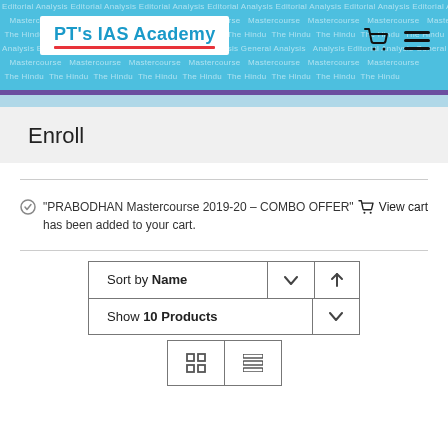PT's IAS Academy
Enroll
"PRABODHAN Mastercourse 2019-20 – COMBO OFFER" has been added to your cart.
View cart
Sort by Name
Show 10 Products